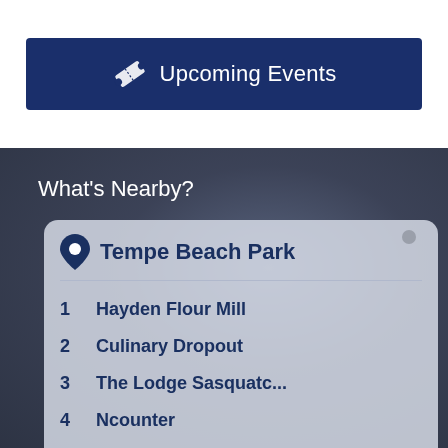[Figure (infographic): Dark navy blue banner button with a ticket icon and text 'Upcoming Events']
What's Nearby?
[Figure (screenshot): Card panel showing location Tempe Beach Park with a scrollable list of nearby places]
1  Hayden Flour Mill
2  Culinary Dropout
3  The Lodge Sasquatc...
4  Ncounter